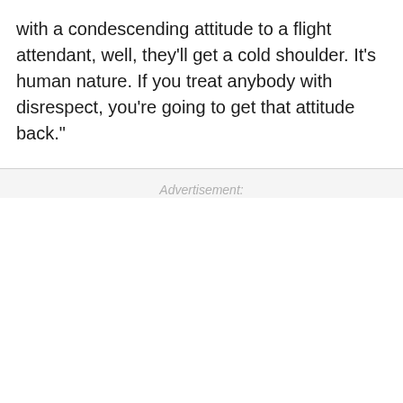with a condescending attitude to a flight attendant, well, they'll get a cold shoulder. It's human nature. If you treat anybody with disrespect, you're going to get that attitude back."
Advertisement: